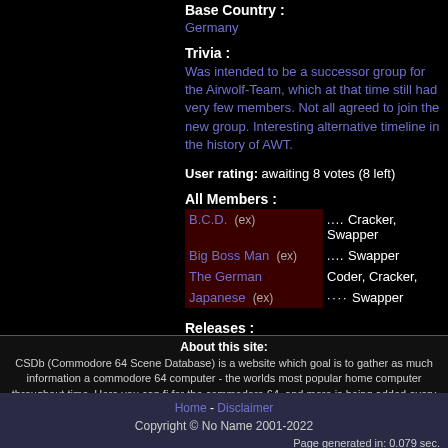Base Country :
Germany
Trivia :
Was intended to be a successor group for the Airwolf-Team, which at that time still had very few members. Not all agreed to join the new group. Interesting alternative timeline in the history of AWT.
User rating: awaiting 8 votes (8 left)
All Members :
| Member | Role |
| --- | --- |
| B.C.D.  (ex) | .... Cracker, Swapper |
| Big Boss Man  (ex) | .... Swapper |
| The German | Coder, Cracker, |
| Japanese  (ex) | .... Swapper |
Releases :
No releases found.
About this site:
CSDb (Commodore 64 Scene Database) is a website which goal is to gather as much information a... commodore 64 computer - the worlds most popular home computer throughout time. Here you can fi... for the commodore 64, and more is being added every day. As this website is scene related, you ca... made by the people who made the scene (the sceners), but you can also find a lot of the old classic g... top right corner, or check out the CSDb main page for the latest ad...
Home - Disclaimer
Copyright © No Name 2001-2022
Page generated in: 0.079 sec.